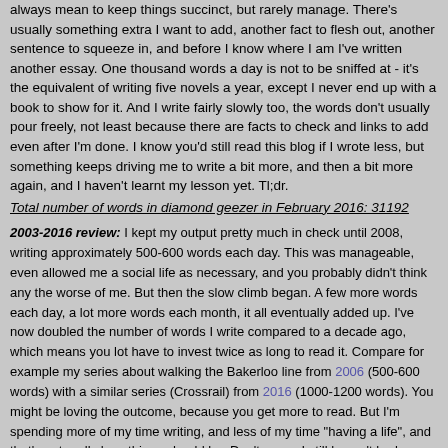always mean to keep things succinct, but rarely manage. There's usually something extra I want to add, another fact to flesh out, another sentence to squeeze in, and before I know where I am I've written another essay. One thousand words a day is not to be sniffed at - it's the equivalent of writing five novels a year, except I never end up with a book to show for it. And I write fairly slowly too, the words don't usually pour freely, not least because there are facts to check and links to add even after I'm done. I know you'd still read this blog if I wrote less, but something keeps driving me to write a bit more, and then a bit more again, and I haven't learnt my lesson yet. Tl;dr.
Total number of words in diamond geezer in February 2016: 31192
2003-2016 review: I kept my output pretty much in check until 2008, writing approximately 500-600 words each day. This was manageable, even allowed me a social life as necessary, and you probably didn't think any the worse of me. But then the slow climb began. A few more words each day, a lot more words each month, it all eventually added up. I've now doubled the number of words I write compared to a decade ago, which means you lot have to invest twice as long to read it. Compare for example my series about walking the Bakerloo line from 2006 (500-600 words) with a similar series (Crossrail) from 2016 (1000-1200 words). You might be loving the outcome, because you get more to read. But I'm spending more of my time writing, and less of my time "having a life", and that's not really how things should be. Don't worry, I still haven't broken yet.
(2003: 14392) (2004: 16214) (2005: 16016) (2006: 15817) (2007: 17102) (2008: 17606) (2009: 20602) (2010: 21595) (2011: 23120) (2012: 25698) (2013: 29410) (2014: 32283) (2015: 30362)